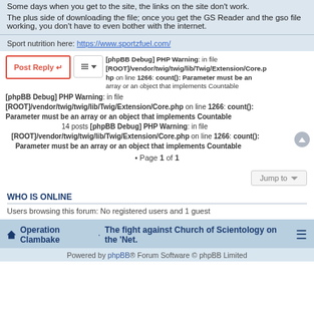Some days when you get to the site, the links on the site don't work.
The plus side of downloading the file; once you get the GS Reader and the gso file working, you don't have to even bother with the internet.
Sport nutrition here: https://www.sportzfuel.com/
[phpBB Debug] PHP Warning: in file [ROOT]/vendor/twig/twig/lib/Twig/Extension/Core.php on line 1266: count(): Parameter must be an array or an object that implements Countable
[phpBB Debug] PHP Warning: in file [ROOT]/vendor/twig/twig/lib/Twig/Extension/Core.php on line 1266: count(): Parameter must be an array or an object that implements Countable
14 posts [phpBB Debug] PHP Warning: in file [ROOT]/vendor/twig/twig/lib/Twig/Extension/Core.php on line 1266: count(): Parameter must be an array or an object that implements Countable
• Page 1 of 1
Jump to
WHO IS ONLINE
Users browsing this forum: No registered users and 1 guest
Operation Clambake · The fight against Church of Scientology on the 'Net.
Powered by phpBB® Forum Software © phpBB Limited